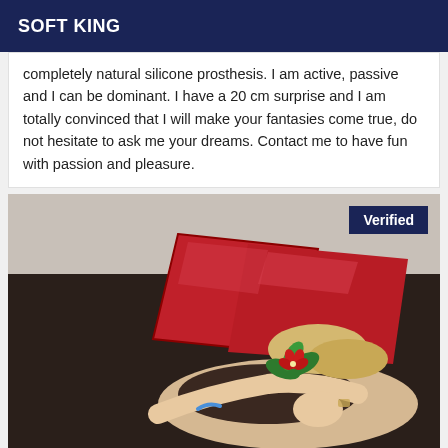SOFT KING
completely natural silicone prosthesis. I am active, passive and I can be dominant. I have a 20 cm surprise and I am totally convinced that I will make your fantasies come true, do not hesitate to ask me your dreams. Contact me to have fun with passion and pleasure.
[Figure (photo): Person lying face down on a dark sofa with red satin pillows, face hidden behind pillows, hair accessory with red flower and green leaves visible, wearing dark top]